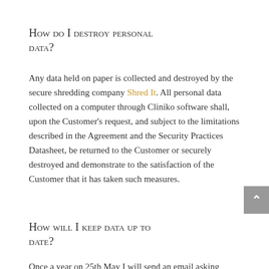How do I destroy personal data?
Any data held on paper is collected and destroyed by the secure shredding company Shred It. All personal data collected on a computer through Cliniko software shall, upon the Customer’s request, and subject to the limitations described in the Agreement and the Security Practices Datasheet, be returned to the Customer or securely destroyed and demonstrate to the satisfaction of the Customer that it has taken such measures.
How will I keep data up to date?
Once a year on 25th May I will send an email asking